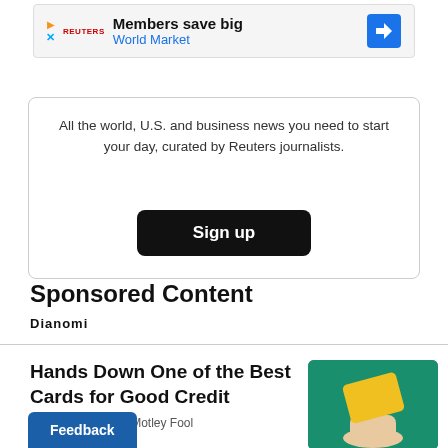[Figure (other): Advertisement banner: Members save big - World Market with play/X icons and blue diamond arrow icon]
All the world, U.S. and business news you need to start your day, curated by Reuters journalists.
Sign up
Sponsored Content
Dianomi
Hands Down One of the Best Cards for Good Credit
Sponsored by The Motley Fool
[Figure (photo): Hand holding a yellow credit card on teal background]
Feedback